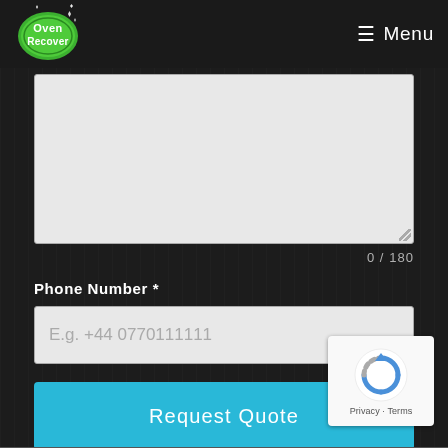[Figure (logo): Oven Recover logo - green rounded badge with white text 'Oven Recover' and star/sparkle decorations]
≡ Menu
[Figure (screenshot): Large textarea input field with light grey background and resize handle in bottom right corner]
0 / 180
Phone Number *
[Figure (screenshot): Phone number input field with placeholder text 'E.g. +44 0770111111']
Request Quote
[Figure (screenshot): reCAPTCHA badge widget with logo and Privacy · Terms text]